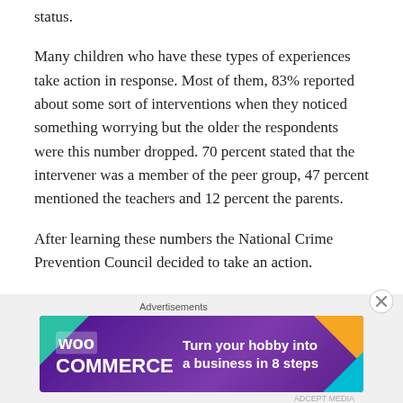status.
Many children who have these types of experiences take action in response. Most of them, 83% reported about some sort of interventions when they noticed something worrying but the older the respondents were this number dropped. 70 percent stated that the intervener was a member of the peer group, 47 percent mentioned the teachers and 12 percent the parents.
After learning these numbers the National Crime Prevention Council decided to take an action.
The National Crime Prevention Council of Hungary is an independent governmental body. It was established on 13 April 2011 by Government Decree 1087/2011 in order to create a high level of public safety, combat crime and take
[Figure (infographic): WooCommerce advertisement banner: purple background with teal, orange, and blue geometric shapes. WooCommerce logo on left side. Text reads: Turn your hobby into a business in 8 steps]